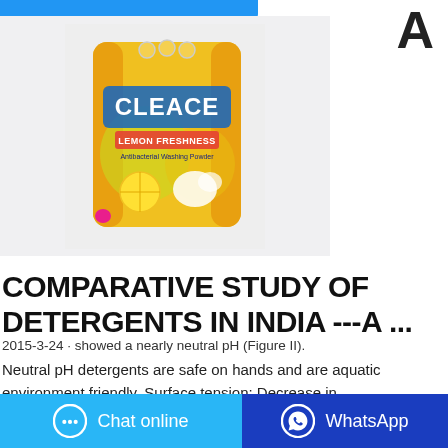[Figure (photo): A yellow/orange bag of Cleace Lemon Freshness antibacterial washing powder on a light gray background, with a small pink item beside it.]
COMPARATIVE STUDY OF DETERGENTS IN INDIA ---A ...
2015-3-24 · showed a nearly neutral pH (Figure II). Neutral pH detergents are safe on hands and are aquatic environment friendly. Surface tension: Decrease in surface tension is crucial for the effective working of a